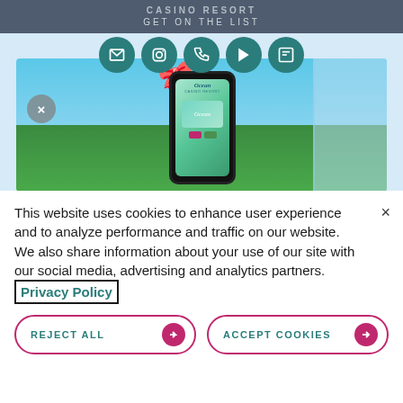CASINO RESORT
GET ON THE LIST
[Figure (screenshot): Ocean Casino Resort website screenshot with social media icons (email, Instagram, phone, video, blog) in teal circles at top, and a hero image showing a smartphone with the Ocean Casino Resort app displayed, a yellow gift ribbon on the phone, set against a background of blue sky and green golf course/pool area. A gray X close button is visible on the left side of the image.]
This website uses cookies to enhance user experience and to analyze performance and traffic on our website. We also share information about your use of our site with our social media, advertising and analytics partners. Privacy Policy
REJECT ALL
ACCEPT COOKIES